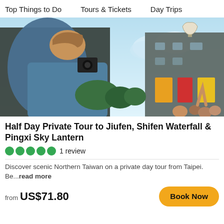Top Things to Do   Tours & Tickets   Day Trips
[Figure (photo): Person photographing a sky lantern floating above a colorful street in Shifen/Pingxi, Taiwan, with traditional shop buildings and signs, crowd below.]
Half Day Private Tour to Jiufen, Shifen Waterfall & Pingxi Sky Lantern
1 review
Discover scenic Northern Taiwan on a private day tour from Taipei. Be...read more
from US$71.80
Book Now